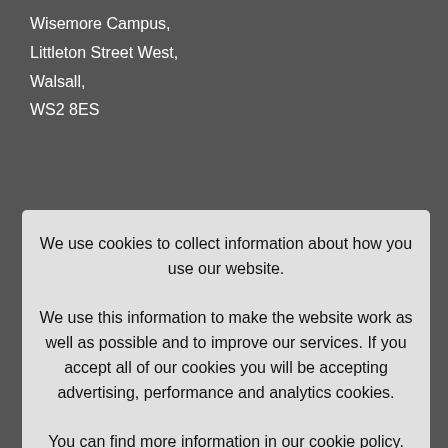Wisemore Campus,
Littleton Street West,
Walsall,
WS2 8ES
We use cookies to collect information about how you use our website. We use this information to make the website work as well as possible and to improve our services. If you accept all of our cookies you will be accepting advertising, performance and analytics cookies. You can find more information in our cookie policy.
Accept All
Set Preferences
Cookie Policy
Partners
Policies & Procedures